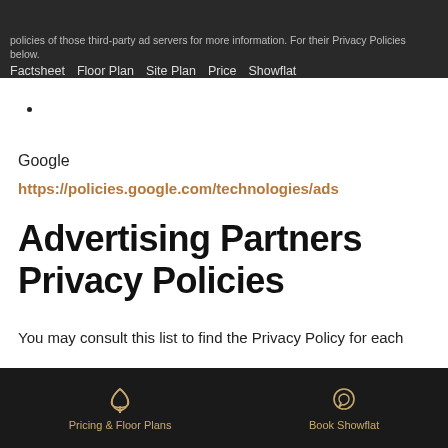policies of those third-party ad servers for more information. For their Privacy Policies below.   Factsheet   Floor Plan   Site Plan   Price   Showflat
Google
https://policies.google.com/technologies/ads
Advertising Partners Privacy Policies
You may consult this list to find the Privacy Policy for each
Pricing & Floor Plans   Book Showflat